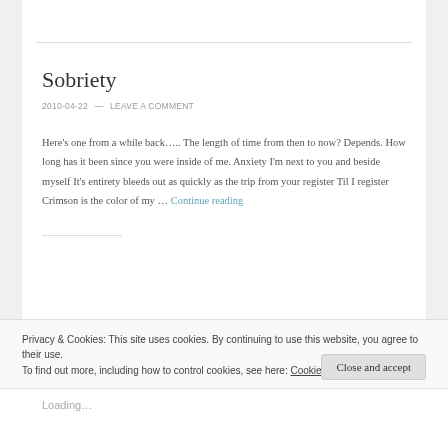Sobriety
2010-04-22 — LEAVE A COMMENT
Here's one from a while back….. The length of time from then to now? Depends. How long has it been since you were inside of me. Anxiety I'm next to you and beside myself It's entirety bleeds out as quickly as the trip from your register Til I register Crimson is the color of my … Continue reading
Privacy & Cookies: This site uses cookies. By continuing to use this website, you agree to their use.
To find out more, including how to control cookies, see here: Cookie Policy
Close and accept
Loading…